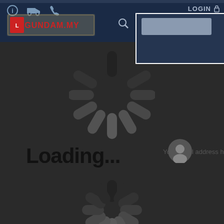[Figure (screenshot): Website screenshot of Gundam.my showing a loading state with spinner animations and 'Loading...' text over a dark overlay. The top navigation bar shows the Gundam.my logo, icons, search button, login link, and a dropdown box.]
LOGIN
Loading...
Your email address he